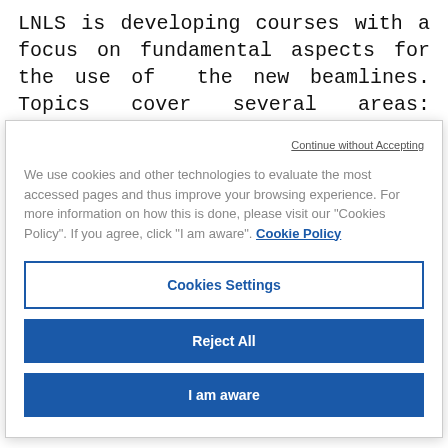LNLS is developing courses with a focus on fundamental aspects for the use of the new beamlines. Topics cover several areas: physical concepts, sample preparation, and especially processing and analysis of acquired data.
The classes were planned in order to help the user to
Continue without Accepting
We use cookies and other technologies to evaluate the most accessed pages and thus improve your browsing experience. For more information on how this is done, please visit our "Cookies Policy". If you agree, click "I am aware". Cookie Policy
Cookies Settings
Reject All
I am aware